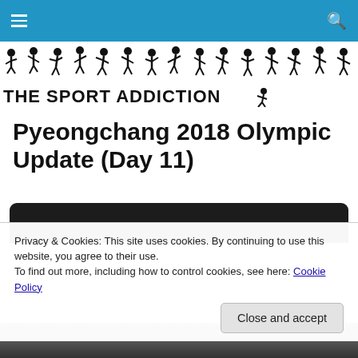THE SPORT ADDICTION — navigation bar with hamburger menu and search icon
[Figure (logo): The Sport Addiction website logo: silhouettes of athletes in various sports arranged in rows, with text 'THE SPORT ADDICTION' in bold black letters below]
Pyeongchang 2018 Olympic Update (Day 11)
Privacy & Cookies: This site uses cookies. By continuing to use this website, you agree to their use.
To find out more, including how to control cookies, see here: Cookie Policy
Close and accept